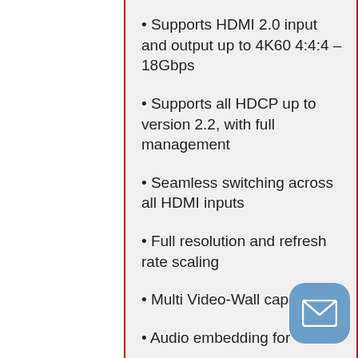• Supports HDMI 2.0 input and output up to 4K60 4:4:4 – 18Gbps
• Supports all HDCP up to version 2.2, with full management
• Seamless switching across all HDMI inputs
• Full resolution and refresh rate scaling
• Multi Video-Wall capability
• Audio embedding for